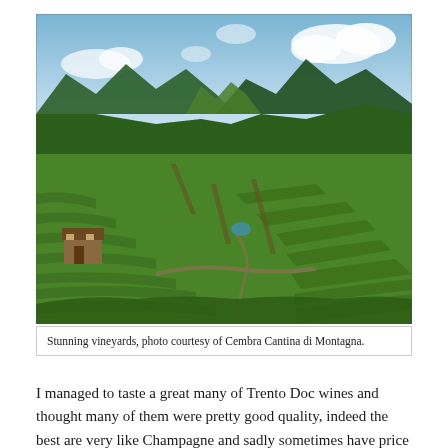[Figure (photo): Aerial/elevated photograph of stunning terraced vineyard hillsides with lush green rows of vines, a stone farmhouse in the lower left, mountain valleys and forested hills in the background, and a partly cloudy blue sky.]
Stunning vineyards, photo courtesy of Cembra Cantina di Montagna.
I managed to taste a great many of Trento Doc wines and thought many of them were pretty good quality, indeed the best are very like Champagne and sadly sometimes have price tags to match. Ferrari are of course the pioneers and most